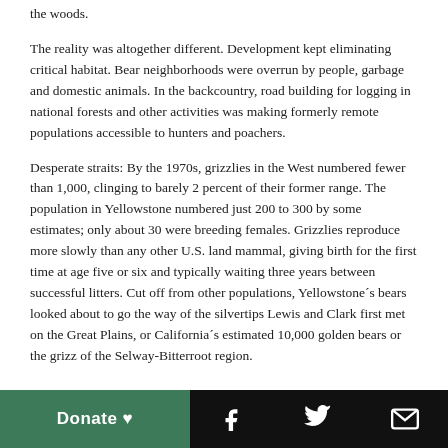the woods.
The reality was altogether different. Development kept eliminating critical habitat. Bear neighborhoods were overrun by people, garbage and domestic animals. In the backcountry, road building for logging in national forests and other activities was making formerly remote populations accessible to hunters and poachers.
Desperate straits: By the 1970s, grizzlies in the West numbered fewer than 1,000, clinging to barely 2 percent of their former range. The population in Yellowstone numbered just 200 to 300 by some estimates; only about 30 were breeding females. Grizzlies reproduce more slowly than any other U.S. land mammal, giving birth for the first time at age five or six and typically waiting three years between successful litters. Cut off from other populations, Yellowstone´s bears looked about to go the way of the silvertips Lewis and Clark first met on the Great Plains, or California´s estimated 10,000 golden bears or the grizz of the Selway-Bitterroot region.
Donate ♥  [Facebook icon]  [Twitter icon]  [Email icon]